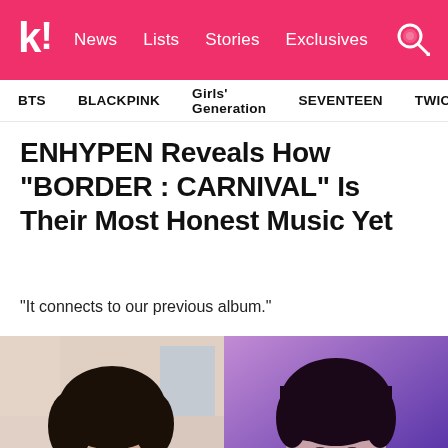k! News Lists Stories Exclusives
BTS BLACKPINK Girls' Generation SEVENTEEN TWICE
ENHYPEN Reveals How “BORDER : CARNIVAL” Is Their Most Honest Music Yet
“It connects to our previous album.”
[Figure (photo): Two male K-pop artists side by side. Left: person with dark hair in a casual indoor setting. Right: person with dark bowl-cut hair against a purple/pink background.]